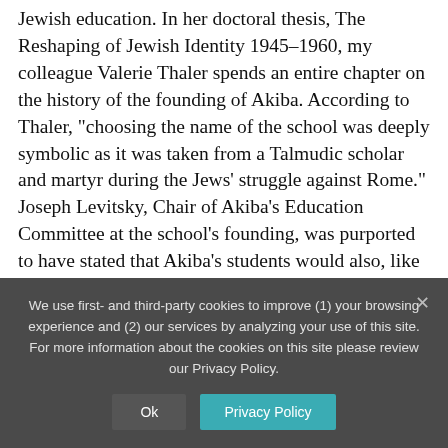Jewish education. In her doctoral thesis, The Reshaping of Jewish Identity 1945–1960, my colleague Valerie Thaler spends an entire chapter on the history of the founding of Akiba. According to Thaler, “choosingthe name of the school was deeply symbolic as it was taken from a Talmudic scholar and martyr during the Jews’ struggle against Rome.” Joseph Levitsky, Chair of Akiba’s Education Committee at the school’s founding, was purported to have stated that Akiba’s students would also, like their namesake, remain committed to Jewish life during “momentous days” in which they lived.
We use first- and third-party cookies to improve (1) your browsing experience and (2) our services by analyzing your use of this site. For more information about the cookies on this site please review our Privacy Policy.